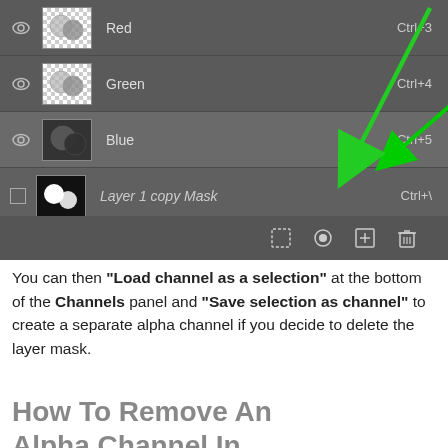[Figure (screenshot): Photoshop Channels panel showing Red (Ctrl+3), Green (Ctrl+4), Blue (Ctrl+5) channels and Layer 1 copy Mask (Ctrl+\) with a green arrow pointing to the Blue channel row. Bottom toolbar shows load selection, save selection, add channel, and delete icons.]
You can then "Load channel as a selection" at the bottom of the Channels panel and "Save selection as channel" to create a separate alpha channel if you decide to delete the layer mask.
How To Remove An Alpha Channel In